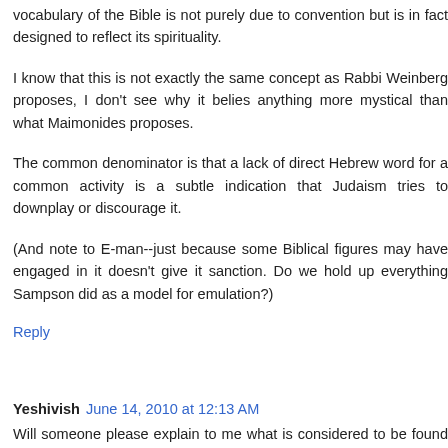vocabulary of the Bible is not purely due to convention but is in fact designed to reflect its spirituality.
I know that this is not exactly the same concept as Rabbi Weinberg proposes, I don't see why it belies anything more mystical than what Maimonides proposes.
The common denominator is that a lack of direct Hebrew word for a common activity is a subtle indication that Judaism tries to downplay or discourage it.
(And note to E-man--just because some Biblical figures may have engaged in it doesn't give it sanction. Do we hold up everything Sampson did as a model for emulation?)
Reply
Yeshivish June 14, 2010 at 12:13 AM
Will someone please explain to me what is considered to be found in the Torah? For instance, you mentioned romance. It is pretty clear to me that shir hashirim portrays a great deal of romance. Take heroism, fair play, adventure...